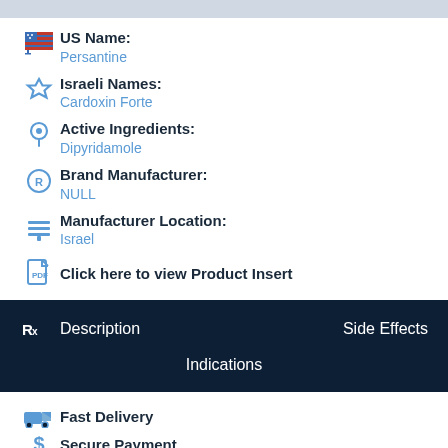US Name: Persantine
Israeli Names: Cardoxin Forte
Active Ingredients: Dipyridamole
Brand Manufacturer: NULL
Manufacturer Location: Israel
Click here to view Product Insert
Description
Side Effects
Indications
Fast Delivery
Secure Payment